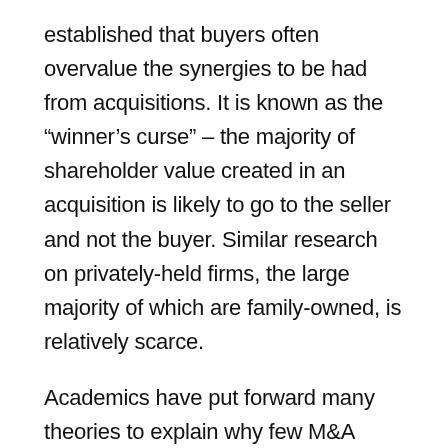established that buyers often overvalue the synergies to be had from acquisitions. It is known as the “winner’s curse” – the majority of shareholder value created in an acquisition is likely to go to the seller and not the buyer. Similar research on privately-held firms, the large majority of which are family-owned, is relatively scarce.
Academics have put forward many theories to explain why few M&A transactions produce the desired, or expected, benefits for acquiring firms. Buyers usually face an acute lack of information – they have little data on the target company, limited access to executives or other stakeholders, and they often have insufficient evaluation experience. Even seasoned